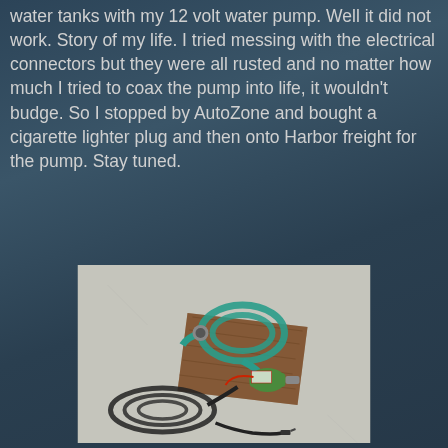water tanks with my 12 volt water pump. Well it did not work. Story of my life. I tried messing with the electrical connectors but they were all rusted and no matter how much I tried to coax the pump into life, it wouldn't budge. So I stopped by AutoZone and bought a cigarette lighter plug and then onto Harbor freight for the pump. Stay tuned.
[Figure (photo): A 12-volt water pump mounted on a wooden board, with a coiled teal/green hose, a gauge or connector, and a long coiled black electrical wire with a plug, all resting on concrete pavement.]